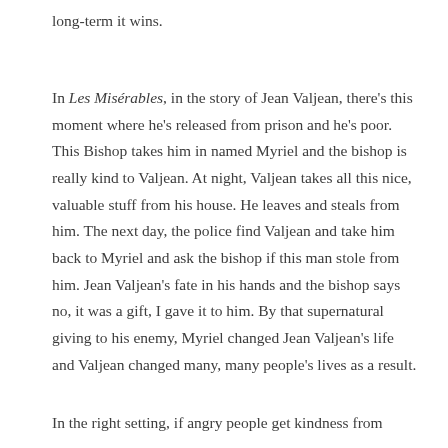long-term it wins.
In Les Misérables, in the story of Jean Valjean, there's this moment where he's released from prison and he's poor. This Bishop takes him in named Myriel and the bishop is really kind to Valjean. At night, Valjean takes all this nice, valuable stuff from his house. He leaves and steals from him. The next day, the police find Valjean and take him back to Myriel and ask the bishop if this man stole from him. Jean Valjean's fate in his hands and the bishop says no, it was a gift, I gave it to him. By that supernatural giving to his enemy, Myriel changed Jean Valjean's life and Valjean changed many, many people's lives as a result.
In the right setting, if angry people get kindness from